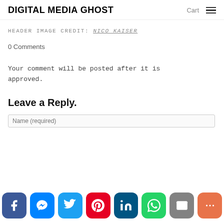DIGITAL MEDIA GHOST   Cart ☰
HEADER IMAGE CREDIT: NICO KAISER
0 Comments
Your comment will be posted after it is approved.
Leave a Reply.
Name (required)
[Figure (infographic): Social sharing bar with icons: Facebook, Messenger, Twitter, Pinterest, LinkedIn, WhatsApp, Email, More]